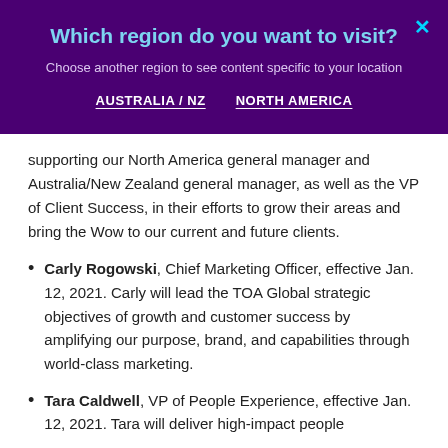Which region do you want to visit?
Choose another region to see content specific to your location
AUSTRALIA / NZ   NORTH AMERICA
supporting our North America general manager and Australia/New Zealand general manager, as well as the VP of Client Success, in their efforts to grow their areas and bring the Wow to our current and future clients.
Carly Rogowski, Chief Marketing Officer, effective Jan. 12, 2021. Carly will lead the TOA Global strategic objectives of growth and customer success by amplifying our purpose, brand, and capabilities through world-class marketing.
Tara Caldwell, VP of People Experience, effective Jan. 12, 2021. Tara will deliver high-impact people